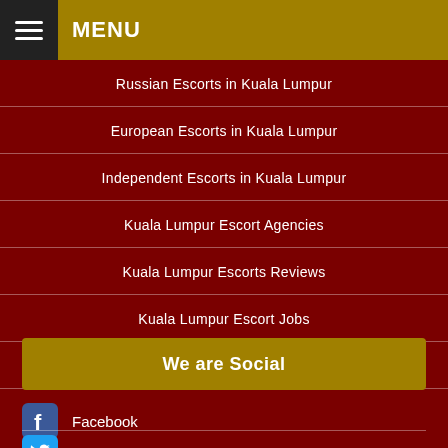MENU
Russian Escorts in Kuala Lumpur
European Escorts in Kuala Lumpur
Independent Escorts in Kuala Lumpur
Kuala Lumpur Escort Agencies
Kuala Lumpur Escorts Reviews
Kuala Lumpur Escort Jobs
Kuala Lumpur Escorts Blog
We are Social
Facebook
Twitter